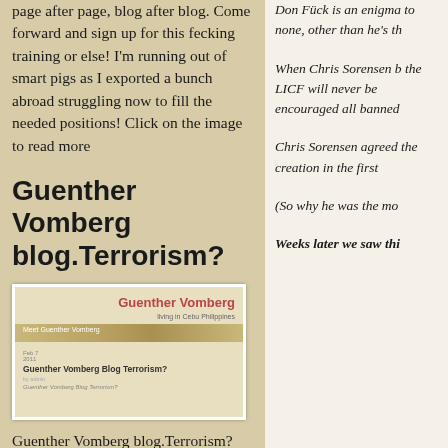page after page, blog after blog. Come forward and sign up for this fecking training or else! I'm running out of smart pigs as I exported a bunch abroad struggling now to fill the needed positions! Click on the image to read more
Guenther Vomberg blog.Terrorism?
[Figure (screenshot): Screenshot of Guenther Vomberg blog titled 'Guenther Vomberg - living in Cebu Philippines' showing a blog post titled 'Guenther Vomberg Blog Terrorism?']
Guenther Vomberg blog.Terrorism? Let's have a big farting laugh at this pizza maker who pretend to be a banana republic intellectual. Guenther Vomber is giving us a lesson of freedom of speech, censored
Don Fück is an enigma to none, other than he's th
When Chris Sorensen b the LICF will never be encouraged all banned
Chris Sorensen agreed the creation in the first
(So why he was the mo
Weeks later we saw thi